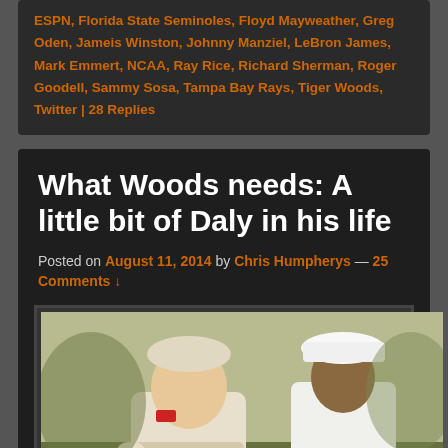ESPN, Florida State Seminoles, Floyd Mayweather, Greg Oden, Jameis Winston, Johnny Manziel, LeBron James, Mark Emmert, NCAA, Ray Rice, Richard Sherman, Roger Goodell, Sammy Sosa, Tampa Bay Rays, Tiger Woods, Twitter | 28 Replies
What Woods needs: A little bit of Daly in his life
Posted on August 11, 2014 by Chris Humpherys — 25 Comments
[Figure (photo): Two golfers standing side by side smiling, one heavyset in a white polo on the left (John Daly) and one athletic in white on the right (Tiger Woods)]